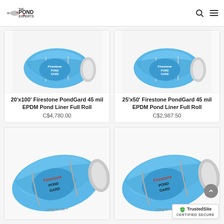The Pond Experts
[Figure (photo): 20'x100' Firestone PondGard 45 mil EPDM Pond Liner Full Roll product image]
20'x100' Firestone PondGard 45 mil EPDM Pond Liner Full Roll
C$4,780.00
[Figure (photo): 25'x50' Firestone PondGard 45 mil EPDM Pond Liner Full Roll product image]
25'x50' Firestone PondGard 45 mil EPDM Pond Liner Full Roll
C$2,987.50
[Figure (photo): Firestone PondGard pond liner roll product image - bottom left]
[Figure (photo): Firestone PondGard pond liner roll product image - bottom right]